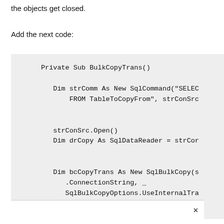the objects get closed.
Add the next code:
[Figure (screenshot): Code block showing Visual Basic code for BulkCopyTrans subroutine with SqlCommand, SqlDataReader and SqlBulkCopy declarations]
×